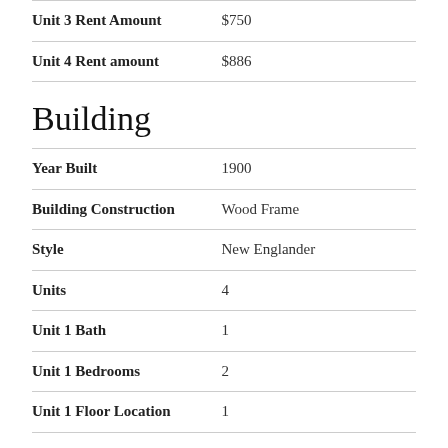| Field | Value |
| --- | --- |
| Unit 3 Rent Amount | $750 |
| Unit 4 Rent amount | $886 |
Building
| Field | Value |
| --- | --- |
| Year Built | 1900 |
| Building Construction | Wood Frame |
| Style | New Englander |
| Units | 4 |
| Unit 1 Bath | 1 |
| Unit 1 Bedrooms | 2 |
| Unit 1 Floor Location | 1 |